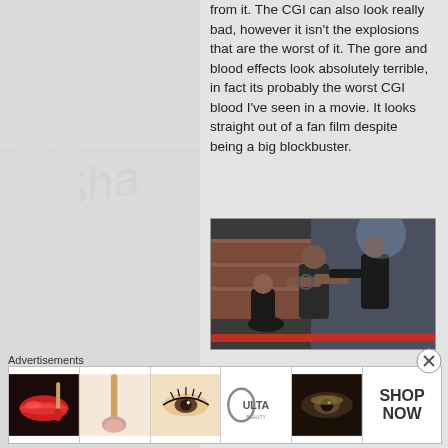from it. The CGI can also look really bad, however it isn't the explosions that are the worst of it. The gore and blood effects look absolutely terrible, in fact its probably the worst CGI blood I've seen in a movie. It looks straight out of a fan film despite being a big blockbuster.
[Figure (photo): Action movie fight scene with three men dressed in black in an industrial setting]
Advertisements
[Figure (photo): Ulta Beauty advertisement banner showing makeup and cosmetics imagery with ULTA logo and SHOP NOW text]